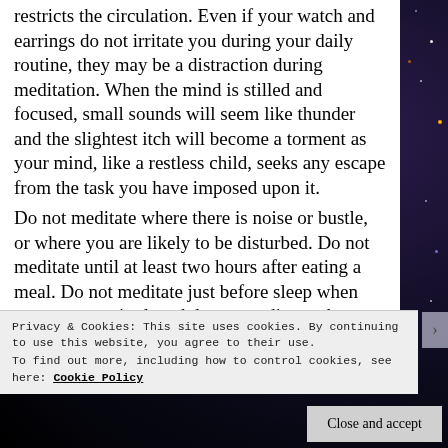restricts the circulation. Even if your watch and earrings do not irritate you during your daily routine, they may be a distraction during meditation. When the mind is stilled and focused, small sounds will seem like thunder and the slightest itch will become a torment as your mind, like a restless child, seeks any escape from the task you have imposed upon it. Do not meditate where there is noise or bustle, or where you are likely to be disturbed. Do not meditate until at least two hours after eating a meal. Do not meditate just before sleep when you are very tired, and do not meditate when you are physically ill, or when your mind is filled with worry, anger, or frustration.
Privacy & Cookies: This site uses cookies. By continuing to use this website, you agree to their use. To find out more, including how to control cookies, see here: Cookie Policy
Close and accept